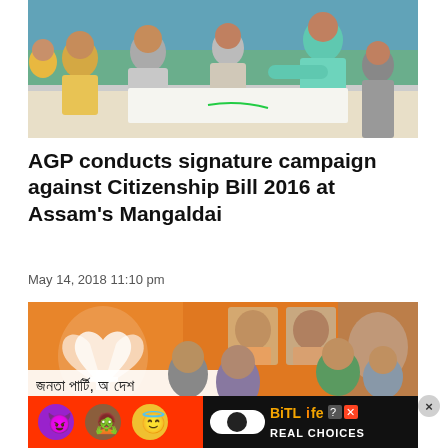[Figure (photo): People gathered around a table signing documents during AGP signature campaign against Citizenship Bill 2016 at Assam's Mangaldai. A man in teal shirt leans over to sign while others watch.]
AGP conducts signature campaign against Citizenship Bill 2016 at Assam's Mangaldai
May 14, 2018 11:10 pm
[Figure (photo): BJP event with orange backdrop showing BJP lotus symbol and portraits of party leaders. Several men standing at event including one in green kurta. Banner in Assamese script reads 'Janata Party, Assam'.]
[Figure (screenshot): BitLife Real Choices advertisement banner with emoji characters (devil, person, angel) and orange/black branding]